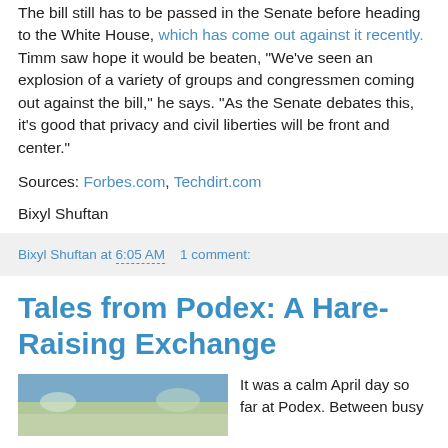The bill still has to be passed in the Senate before heading to the White House, which has come out against it recently. Timm saw hope it would be beaten, "We've seen an explosion of a variety of groups and congressmen coming out against the bill," he says. "As the Senate debates this, it's good that privacy and civil liberties will be front and center."
Sources: Forbes.com, Techdirt.com
Bixyl Shuftan
Bixyl Shuftan at 6:05 AM   1 comment:
Tales from Podex: A Hare-Raising Exchange
It was a calm April day so far at Podex. Between busy
[Figure (photo): Outdoor landscape photo showing a calm scene with trees and sky, likely near Podex]